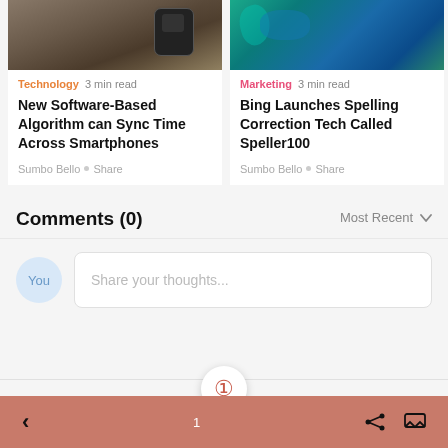[Figure (screenshot): Two article cards side by side. Left card: tech photo (hand holding phone over cat), category 'Technology', '3 min read', title 'New Software-Based Algorithm can Sync Time Across Smartphones', author 'Sumbo Bello', Share. Right card: colorful sea creature photo, category 'Marketing', '3 min read', title 'Bing Launches Spelling Correction Tech Called Speller100', author 'Sumbo Bello', Share.]
Comments (0)
Most Recent ∨
Share your thoughts...
You
1